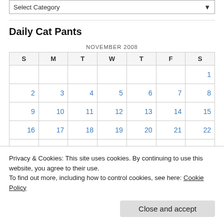[Figure (screenshot): Select Category dropdown input at top of page]
Daily Cat Pants
| S | M | T | W | T | F | S |
| --- | --- | --- | --- | --- | --- | --- |
|  |  |  |  |  |  | 1 |
| 2 | 3 | 4 | 5 | 6 | 7 | 8 |
| 9 | 10 | 11 | 12 | 13 | 14 | 15 |
| 16 | 17 | 18 | 19 | 20 | 21 | 22 |
| 23 | 24 | 25 | 26 | 27 | 28 | 29 |
| 30 |  |  |  |  |  |  |
Privacy & Cookies: This site uses cookies. By continuing to use this website, you agree to their use.
To find out more, including how to control cookies, see here: Cookie Policy